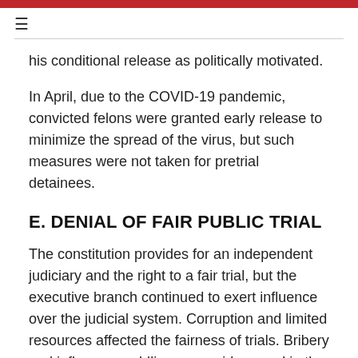≡
his conditional release as politically motivated.
In April, due to the COVID-19 pandemic, convicted felons were granted early release to minimize the spread of the virus, but such measures were not taken for pretrial detainees.
E. DENIAL OF FAIR PUBLIC TRIAL
The constitution provides for an independent judiciary and the right to a fair trial, but the executive branch continued to exert influence over the judicial system. Corruption and limited resources affected the fairness of trials. Bribery and influence peddling were widespread in the courts, according to domestic human rights groups. There were problems enforcing court orders. One judicial employee